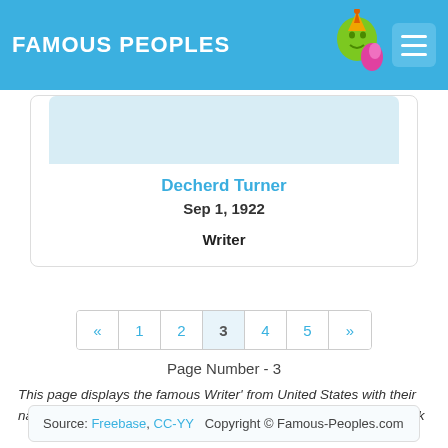FAMOUS PEOPLES
Decherd Turner
Sep 1, 1922
Writer
« 1 2 3 4 5 »
Page Number - 3
This page displays the famous Writer' from United States with their name, profession and birthplace who are having birthday This Week
Source: Freebase, CC-YY  Copyright © Famous-Peoples.com